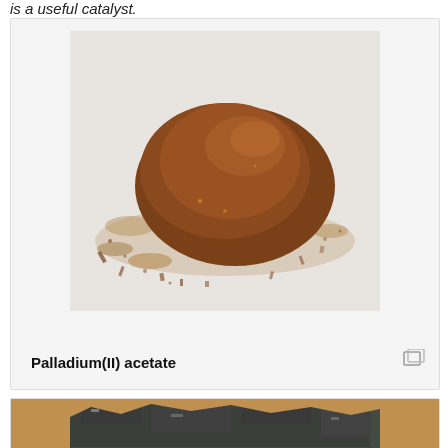is a useful catalyst.
[Figure (photo): Photograph of Palladium(II) acetate powder — a reddish-brown granular powder/pile on a white background]
Palladium(II) acetate
[Figure (photo): Photograph of a dark grey/black rock or mineral sample, partially cropped at bottom of page]